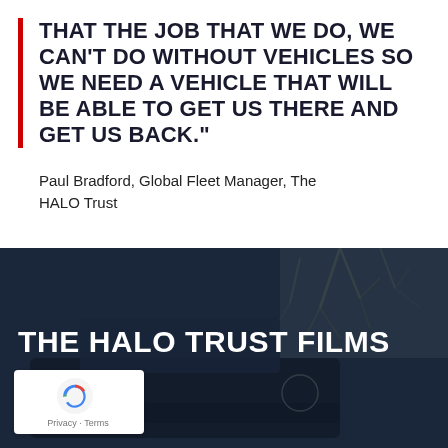THAT THE JOB THAT WE DO, WE CAN'T DO WITHOUT VEHICLES SO WE NEED A VEHICLE THAT WILL BE ABLE TO GET US THERE AND GET US BACK."
Paul Bradford, Global Fleet Manager, The HALO Trust
[Figure (photo): Dark blue-tinted photograph of a vehicle with bare tree branches visible in the background. Overlaid with 'THE HALO TRUST FILMS' in bold white uppercase text and a reCAPTCHA badge with Privacy and Terms links.]